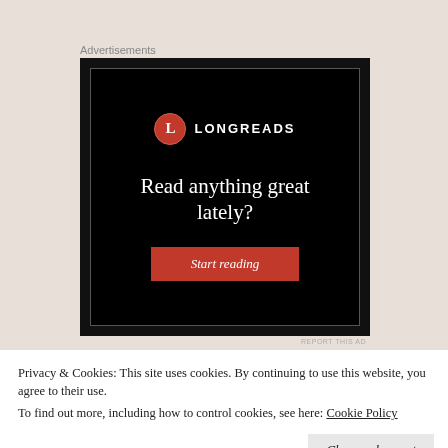Advertisements
[Figure (logo): Longreads advertisement banner on black background. Shows Longreads logo (red circle with 'L'), the text 'LONGREADS', headline 'Read anything great lately?', and a red 'Start reading' button.]
REPORT THIS AD
Privacy & Cookies: This site uses cookies. By continuing to use this website, you agree to their use.
To find out more, including how to control cookies, see here: Cookie Policy
Close and accept